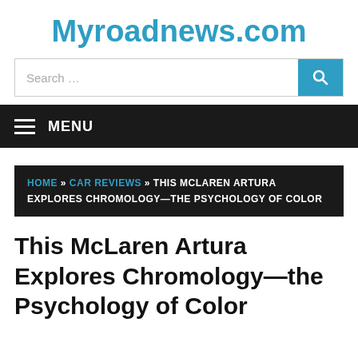Myroadnews.com
[Figure (other): Search bar with text input field and blue search button with magnifying glass icon]
MENU
HOME » CAR REVIEWS » THIS MCLAREN ARTURA EXPLORES CHROMOLOGY—THE PSYCHOLOGY OF COLOR
This McLaren Artura Explores Chromology—the Psychology of Color